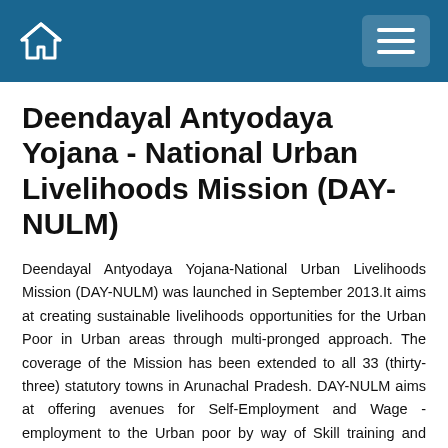Navigation bar with home icon and hamburger menu
Deendayal Antyodaya Yojana - National Urban Livelihoods Mission (DAY-NULM)
Deendayal Antyodaya Yojana-National Urban Livelihoods Mission (DAY-NULM) was launched in September 2013.It aims at creating sustainable livelihoods opportunities for the Urban Poor in Urban areas through multi-pronged approach. The coverage of the Mission has been extended to all 33 (thirty-three) statutory towns in Arunachal Pradesh. DAY-NULM aims at offering avenues for Self-Employment and Wage -employment to the Urban poor by way of Skill training and provision of bank